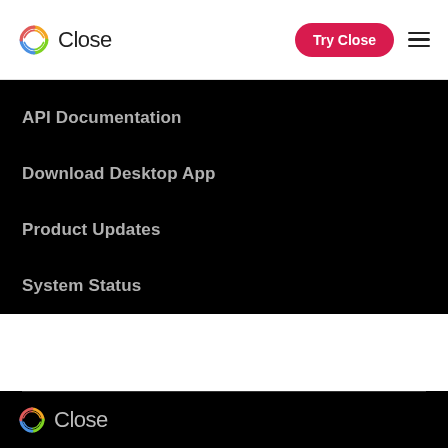Close — Try Close — (menu)
API Documentation
Download Desktop App
Product Updates
System Status
Close